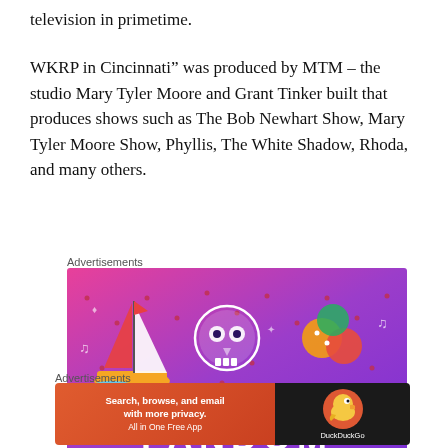television in primetime.
WKRP in Cincinnati” was produced by MTM – the studio Mary Tyler Moore and Grant Tinker built that produces shows such as The Bob Newhart Show, Mary Tyler Moore Show, Phyllis, The White Shadow, Rhoda, and many others.
Advertisements
[Figure (illustration): Fandom advertisement banner with colorful purple/pink gradient background featuring cartoon icons including a sailboat, skull, and dice, with FANDOM text at the bottom]
Advertisements
[Figure (illustration): DuckDuckGo advertisement: orange-red left side reading 'Search, browse, and email with more privacy. All in One Free App' with dark right side showing DuckDuckGo duck logo and name]